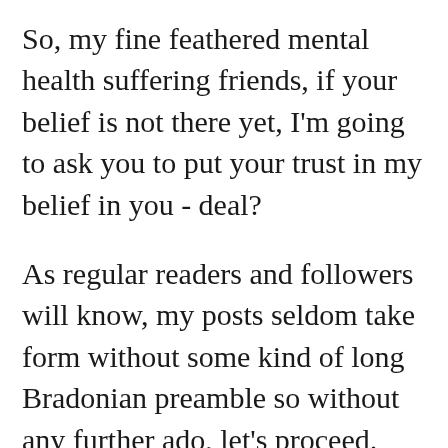So, my fine feathered mental health suffering friends, if your belief is not there yet, I'm going to ask you to put your trust in my belief in you - deal?
As regular readers and followers will know, my posts seldom take form without some kind of long Bradonian preamble so without any further ado, let's proceed.